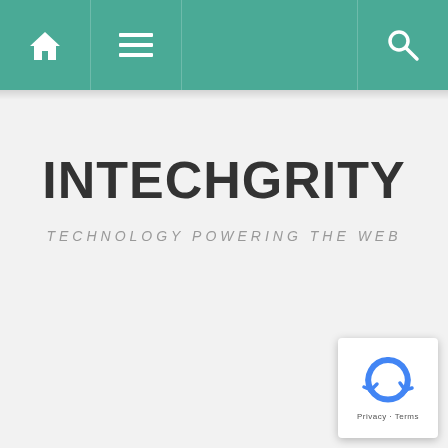INTECHGRITY navigation bar with home, menu, and search icons
INTECHGRITY
TECHNOLOGY POWERING THE WEB
[Figure (logo): reCAPTCHA logo badge with circular arrow icon, Privacy and Terms text]